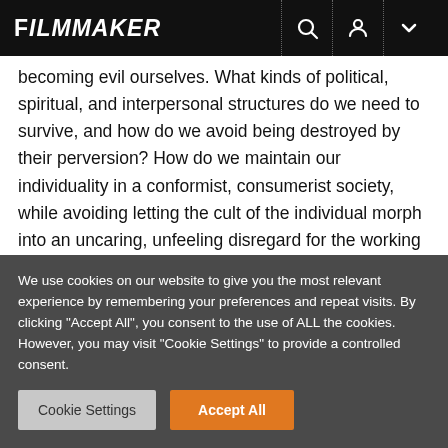FILMMAKER
becoming evil ourselves. What kinds of political, spiritual, and interpersonal structures do we need to survive, and how do we avoid being destroyed by their perversion? How do we maintain our individuality in a conformist, consumerist society, while avoiding letting the cult of the individual morph into an uncaring, unfeeling disregard for the working class?
[Figure (logo): FILMMAKER magazine logo with pink/red gradient background]
We use cookies on our website to give you the most relevant experience by remembering your preferences and repeat visits. By clicking "Accept All", you consent to the use of ALL the cookies. However, you may visit "Cookie Settings" to provide a controlled consent.